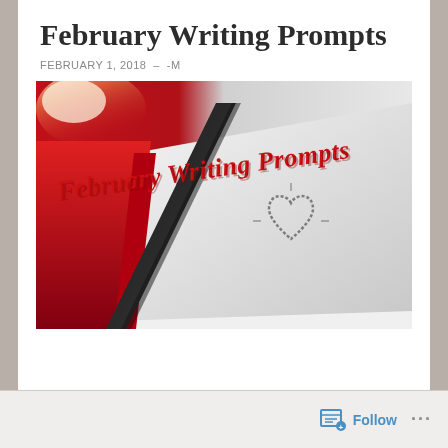February Writing Prompts
FEBRUARY 1, 2018  -  -M
[Figure (photo): A close-up photo of a notebook or journal with a black ribbon bookmark and a hand-drawn heart on the cover. The left side shows a red background with bold red italic text reading 'February Writing Prompts'. The upper left has a bright light/sun flare effect.]
Follow